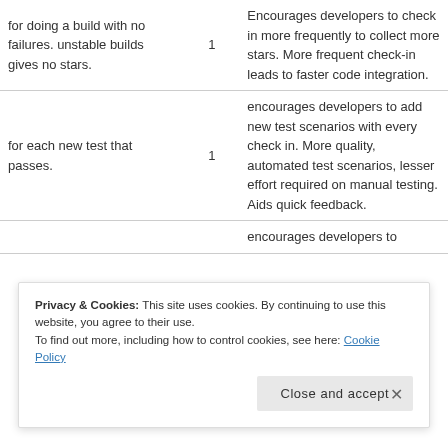| for doing a build with no failures. unstable builds gives no stars. | 1 | Encourages developers to check in more frequently to collect more stars. More frequent check-in leads to faster code integration. |
| for each new test that passes. | 1 | encourages developers to add new test scenarios with every check in. More quality, automated test scenarios, lesser effort required on manual testing. Aids quick feedback. |
|  |  | encourages developers to |
Privacy & Cookies: This site uses cookies. By continuing to use this website, you agree to their use. To find out more, including how to control cookies, see here: Cookie Policy
Close and accept